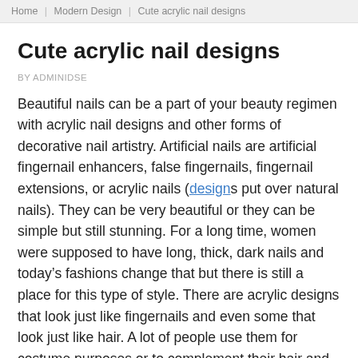Home  |  Modern Design  |  Cute acrylic nail designs
Cute acrylic nail designs
BY ADMINIDSE
Beautiful nails can be a part of your beauty regimen with acrylic nail designs and other forms of decorative nail artistry. Artificial nails are artificial fingernail enhancers, false fingernails, fingernail extensions, or acrylic nails (designs put over natural nails). They can be very beautiful or they can be simple but still stunning. For a long time, women were supposed to have long, thick, dark nails and today’s fashions change that but there is still a place for this type of style. There are acrylic designs that look just like fingernails and even some that look just like hair. A lot of people use them for costume purposes or to complement their hair and